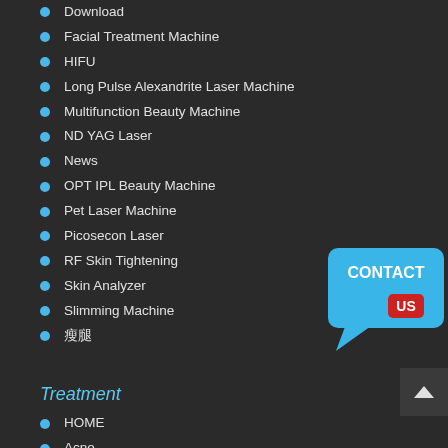Download
Facial Treatment Machine
HIFU
Long Pulse Alexandrite Laser Machine
Multifunction Beauty Machine
ND YAG Laser
News
OPT IPL Beauty Machine
Pet Laser Machine
Picosecon Laser
RF Skin Tightening
Skin Analyzer
Slimming Machine
瘦腿
[Figure (illustration): Contact Us button graphic with speech bubble and red badge]
Treatment
HOME
Acne
Hair Removal
Pigmented Lesions